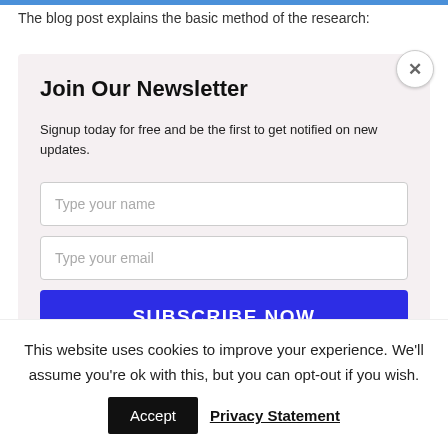The blog post explains the basic method of the research:
[Figure (screenshot): Newsletter signup modal overlay with title 'Join Our Newsletter', description text, two input fields for name and email, and a blue SUBSCRIBE NOW button. Has a close (X) button in the top right corner.]
A
Uber model works around three crucial variables, 'priors', which
This website uses cookies to improve your experience. We'll assume you're ok with this, but you can opt-out if you wish.
Accept
Privacy Statement